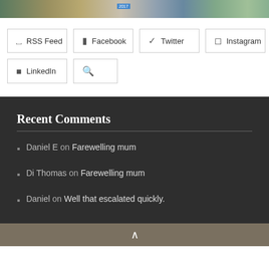[Figure (photo): Top strip showing partial view of a house exterior with brick facade and house number 2017, outdoor scene]
RSS Feed
Facebook
Twitter
Instagram
LinkedIn
Search (icon)
Recent Comments
Daniel E on Farewelling mum
Di Thomas on Farewelling mum
Daniel on Well that escalated quickly.
^ (chevron up icon)